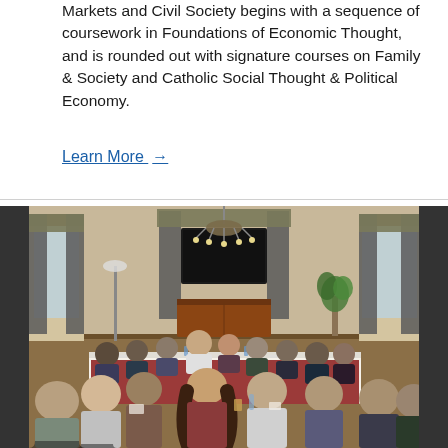Markets and Civil Society begins with a sequence of coursework in Foundations of Economic Thought, and is rounded out with signature courses on Family & Society and Catholic Social Thought & Political Economy.
Learn More →
[Figure (photo): A group of people seated around a large conference table in a formal room with tall windows, curtains, a chandelier, and a flat screen TV. A facilitator sits at the head of the table while participants engage in discussion.]